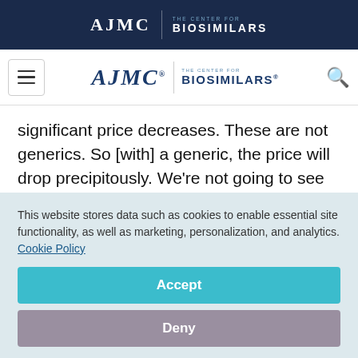AJMC | THE CENTER FOR BIOSIMILARS
AJMC THE CENTER FOR BIOSIMILARS [navigation bar with hamburger menu and search icon]
significant price decreases. These are not generics. So [with] a generic, the price will drop precipitously. We’re not going to see that. We’ll see stabilization of price because of the competition. The more biosimilars in a particular
This website stores data such as cookies to enable essential site functionality, as well as marketing, personalization, and analytics. Cookie Policy
Accept
Deny